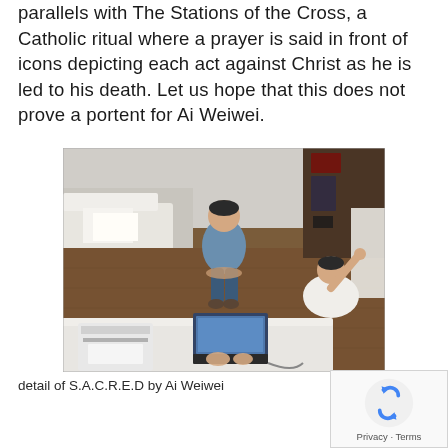parallels with The Stations of the Cross, a Catholic ritual where a prayer is said in front of icons depicting each act against Christ as he is led to his death. Let us hope that this does not prove a portent for Ai Weiwei.
[Figure (photo): Overhead photograph showing a detention scene: a man in a blue t-shirt and jeans sitting on the floor with hands restrained behind his back, another person in white seated on a mattress using a laptop, a printer nearby, in a sparsely furnished room.]
detail of S.A.C.R.E.D by Ai Weiwei